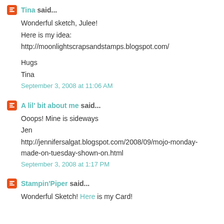Tina said...
Wonderful sketch, Julee!
Here is my idea:
http://moonlightscrapsandstamps.blogspot.com/

Hugs
Tina
September 3, 2008 at 11:06 AM
A lil' bit about me said...
Ooops! Mine is sideways
Jen
http://jennifersalgat.blogspot.com/2008/09/mojo-monday-made-on-tuesday-shown-on.html
September 3, 2008 at 1:17 PM
Stampin'Piper said...
Wonderful Sketch! Here is my Card!